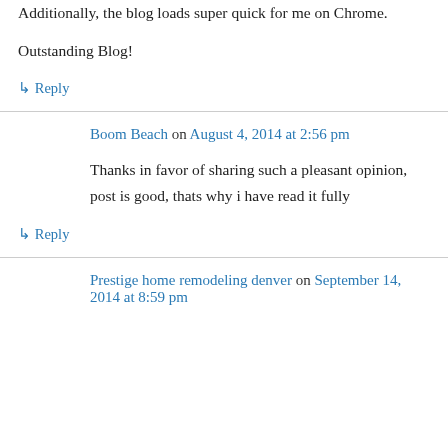Additionally, the blog loads super quick for me on Chrome.
Outstanding Blog!
↳ Reply
Boom Beach on August 4, 2014 at 2:56 pm
Thanks in favor of sharing such a pleasant opinion, post is good, thats why i have read it fully
↳ Reply
Prestige home remodeling denver on September 14, 2014 at 8:59 pm